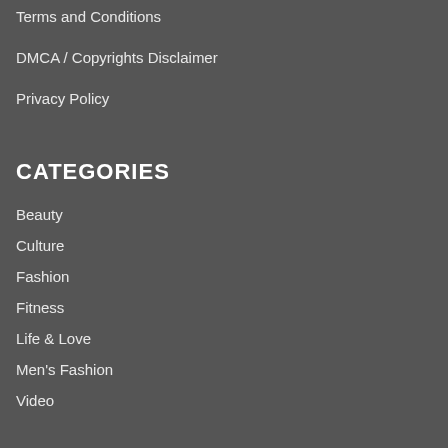Terms and Conditions
DMCA / Copyrights Disclaimer
Privacy Policy
CATEGORIES
Beauty
Culture
Fashion
Fitness
Life & Love
Men's Fashion
Video